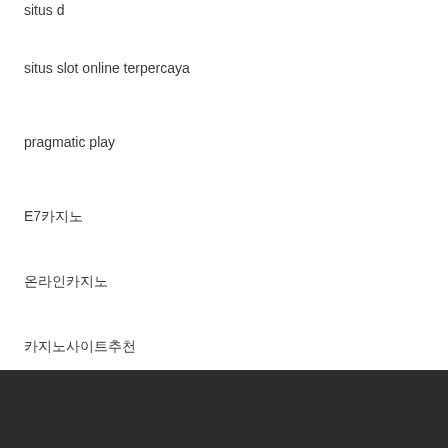situs d
situs slot online terpercaya
pragmatic play
E7카지노
온라인카지노
카지노사이트추천